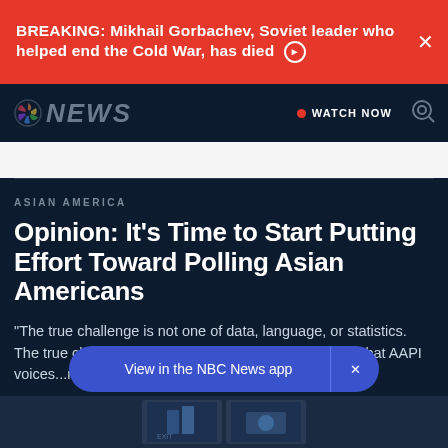BREAKING: Mikhail Gorbachev, Soviet leader who helped end the Cold War, has died
NBC NEWS • WATCH NOW
ASIAN AMERICA
Opinion: It's Time to Start Putting Effort Toward Polling Asian Americans
"The true challenge is not one of data, language, or statistics. The true challenge is convincing polling organizations that AAPI voices...matter."
View in the NBC News app